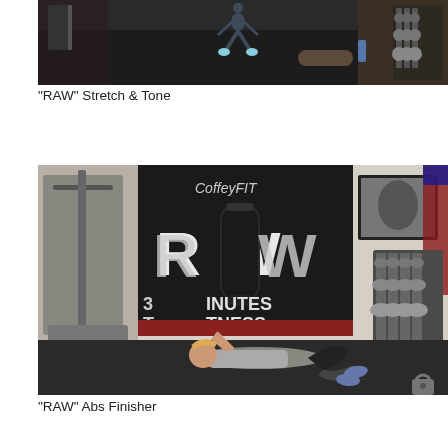[Figure (photo): A gym floor view showing a person jumping, with dumbbells rack and exercise equipment in the background on a dark rubber mat.]
"RAW" Stretch & Tone
[Figure (photo): A gym room with a CoffeyFIT RAW banner and a punching bag. A woman is lying on a dark mat doing ab crunches. Dumbbell rack and exercise equipment visible in the background. A lock icon appears in the lower right corner.]
"RAW" Abs Finisher